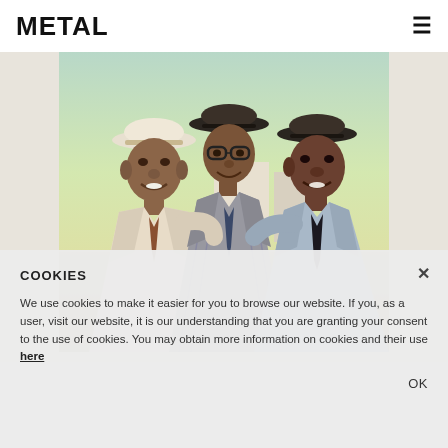METAL
[Figure (photo): Vintage color photograph of three well-dressed Black men wearing suits and fedora hats, standing outdoors in warm sunlight, smiling at the camera.]
COOKIES
We use cookies to make it easier for you to browse our website. If you, as a user, visit our website, it is our understanding that you are granting your consent to the use of cookies. You may obtain more information on cookies and their use here
OK